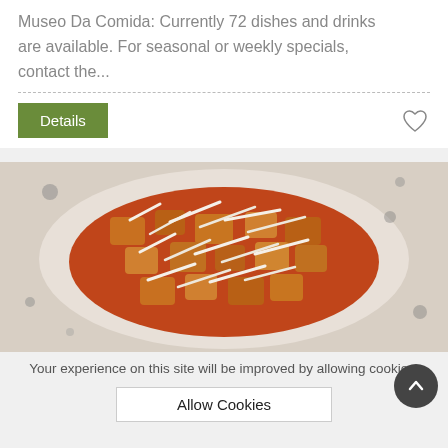Museo Da Comida: Currently 72 dishes and drinks are available. For seasonal or weekly specials, contact the...
[Figure (other): Details button and heart/favorite icon on a card footer with dashed separator line]
[Figure (photo): Close-up photo of a pasta or focaccia dish with tomato sauce and shredded cheese on a white plate]
La Focacceria Pugliese
Your experience on this site will be improved by allowing cookies.
Allow Cookies